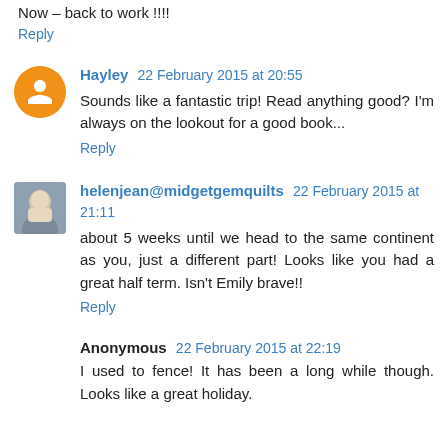Now – back to work !!!!
Reply
Hayley 22 February 2015 at 20:55
Sounds like a fantastic trip! Read anything good? I'm always on the lookout for a good book...
Reply
helenjean@midgetgemquilts 22 February 2015 at 21:11
about 5 weeks until we head to the same continent as you, just a different part! Looks like you had a great half term. Isn't Emily brave!!
Reply
Anonymous 22 February 2015 at 22:19
I used to fence! It has been a long while though. Looks like a great holiday.